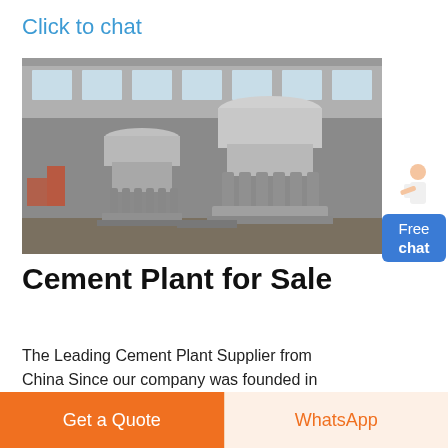Click to chat
[Figure (photo): Two large industrial cone crushers / cement plant machinery photographed in a factory warehouse setting. The machines are large, grey/metal colored with cylindrical tops and spring-loaded bases.]
[Figure (illustration): Small illustration of a person (woman in white jacket) pointing, next to a blue 'Free chat' button widget on the right side.]
Cement Plant for Sale
The Leading Cement Plant Supplier from China Since our company was founded in
Get a Quote
WhatsApp